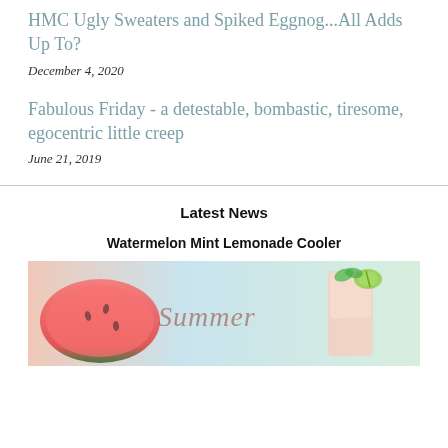HMC Ugly Sweaters and Spiked Eggnog...All Adds Up To?
December 4, 2020
Fabulous Friday - a detestable, bombastic, tiresome, egocentric little creep
June 21, 2019
Latest News
Watermelon Mint Lemonade Cooler
[Figure (photo): Photo of watermelon slices and a mint lemonade cooler drink with lime garnish, with 'Summer' script overlay]